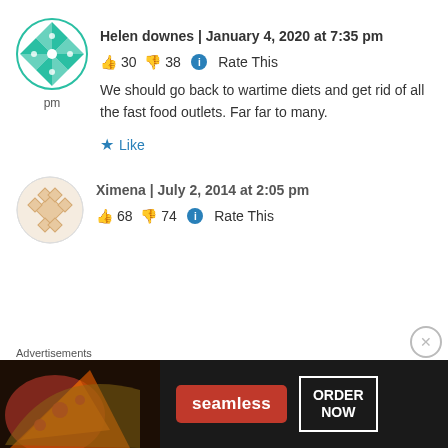[Figure (illustration): User avatar icon - green circular design with geometric pizza-like pattern and teal/green colors, with 'pm' label below]
Helen downes | January 4, 2020 at 7:35 pm
👍 30 👎 38 ℹ Rate This
We should go back to wartime diets and get rid of all the fast food outlets. Far far to many.
★ Like
[Figure (illustration): User avatar icon - circular peach/tan colored design with geometric diamond pattern]
Ximena | July 2, 2014 at 2:05 pm
👍 68 👎 74 ℹ Rate This
Advertisements
[Figure (illustration): Seamless food delivery advertisement banner with pizza image, Seamless logo in red, and ORDER NOW button]